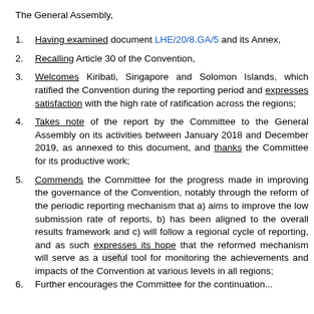The General Assembly,
Having examined document LHE/20/8.GA/5 and its Annex,
Recalling Article 30 of the Convention,
Welcomes Kiribati, Singapore and Solomon Islands, which ratified the Convention during the reporting period and expresses satisfaction with the high rate of ratification across the regions;
Takes note of the report by the Committee to the General Assembly on its activities between January 2018 and December 2019, as annexed to this document, and thanks the Committee for its productive work;
Commends the Committee for the progress made in improving the governance of the Convention, notably through the reform of the periodic reporting mechanism that a) aims to improve the low submission rate of reports, b) has been aligned to the overall results framework and c) will follow a regional cycle of reporting, and as such expresses its hope that the reformed mechanism will serve as a useful tool for monitoring the achievements and impacts of the Convention at various levels in all regions;
Further encourages the Committee for the continuation...